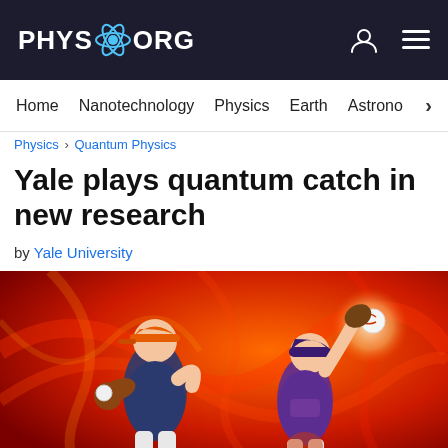PHYS.ORG
Home | Nanotechnology | Physics | Earth | Astronomy
Physics > Quantum Physics
Yale plays quantum catch in new research
by Yale University
[Figure (illustration): Stylized illustration of two baseball players on a red/orange energy wave background. On the left, a pitcher in dark jersey winding up with a glove and ball. On the right, a catcher reaching up to catch a glowing ball.]